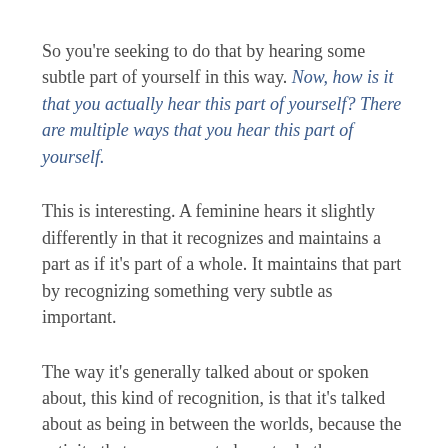So you're seeking to do that by hearing some subtle part of yourself in this way. Now, how is it that you actually hear this part of yourself? There are multiple ways that you hear this part of yourself.
This is interesting. A feminine hears it slightly differently in that it recognizes and maintains a part as if it's part of a whole. It maintains that part by recognizing something very subtle as important.
The way it's generally talked about or spoken about, this kind of recognition, is that it's talked about as being in between the worlds, because the activity that causes you to have to do the